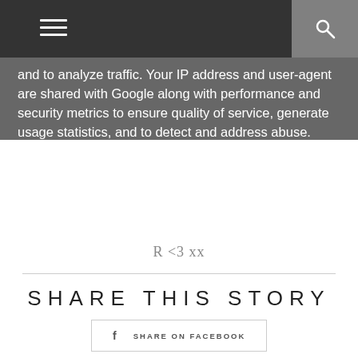and to analyze traffic. Your IP address and user-agent are shared with Google along with performance and security metrics to ensure quality of service, generate usage statistics, and to detect and address abuse.
LEARN MORE   OK
R <3 xx
SHARE THIS STORY
f  SHARE ON FACEBOOK
SHARE ON TWITTER